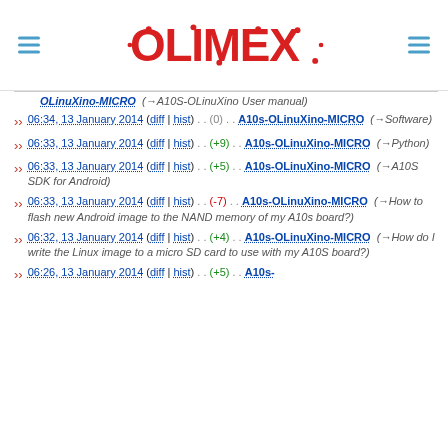Olimex logo with navigation hamburger menus
OLinuXino-MICRO (→A10S-OLinuXino User manual)
06:34, 13 January 2014 (diff | hist) . . (0) . . A10s-OLinuXino-MICRO (→Software)
06:33, 13 January 2014 (diff | hist) . . (+9) . . A10s-OLinuXino-MICRO (→Python)
06:33, 13 January 2014 (diff | hist) . . (+5) . . A10s-OLinuXino-MICRO (→A10S SDK for Android)
06:33, 13 January 2014 (diff | hist) . . (-7) . . A10s-OLinuXino-MICRO (→How to flash new Android image to the NAND memory of my A10s board?)
06:32, 13 January 2014 (diff | hist) . . (+4) . . A10s-OLinuXino-MICRO (→How do I write the Linux image to a micro SD card to use with my A10S board?)
06:26, 13 January 2014 (diff | hist) . . (+5) . . A10s-